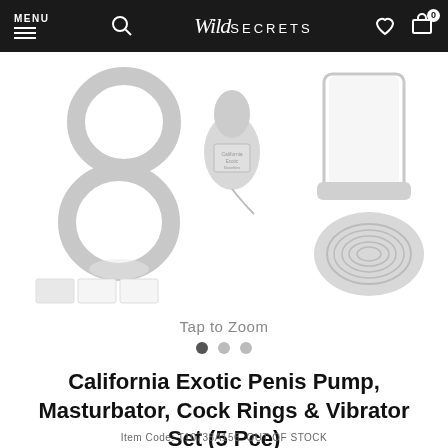MENU | [search icon] | Wild SECRETS | [heart icon] | [cart icon] 0
[Figure (photo): Product photo showing a California Exotic penis pump set with pump cylinder, two cock rings, a vibrator/bullet, and a masturbator — all in clear/translucent material on a white background]
Tap to Zoom
California Exotic Penis Pump, Masturbator, Cock Rings & Vibrator Set (5 Pce)
Item Code: T10738A156  OUT OF STOCK